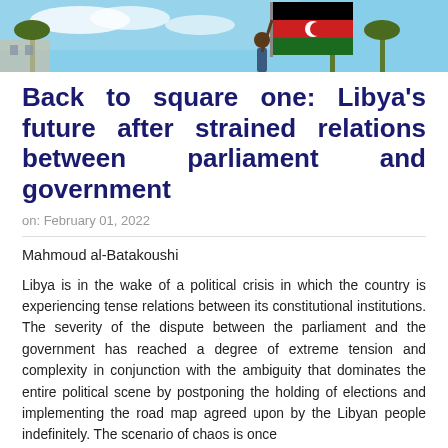[Figure (photo): Person waving a Libyan flag (red, black, green tricolor) against a blue sky with palm trees in the background]
Back to square one: Libya's future after strained relations between parliament and government
on: February 01, 2022
Mahmoud al-Batakoushi
Libya is in the wake of a political crisis in which the country is experiencing tense relations between its constitutional institutions. The severity of the dispute between the parliament and the government has reached a degree of extreme tension and complexity in conjunction with the ambiguity that dominates the entire political scene by postponing the holding of elections and implementing the road map agreed upon by the Libyan people indefinitely. The scenario of chaos is once